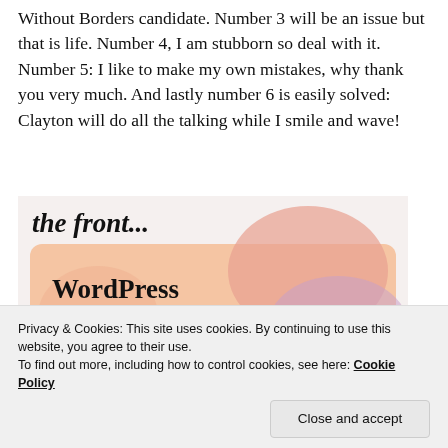Without Borders candidate. Number 3 will be an issue but that is life. Number 4, I am stubborn so deal with it. Number 5: I like to make my own mistakes, why thank you very much. And lastly number 6 is easily solved: Clayton will do all the talking while I smile and wave!
[Figure (screenshot): A partially visible promotional image showing 'the front...' text at top and a colorful gradient card with text 'WordPress in the back.']
Privacy & Cookies: This site uses cookies. By continuing to use this website, you agree to their use.
To find out more, including how to control cookies, see here: Cookie Policy
Close and accept